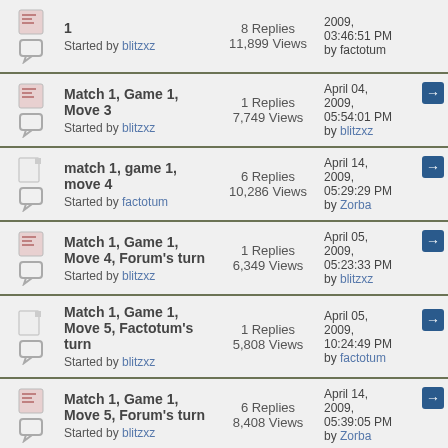|  |  | Topic | Stats | Last Post |
| --- | --- | --- | --- | --- |
|  |  | 1
Started by blitzxz | 8 Replies
11,899 Views | April 04, 2009, 03:46:51 PM
by factotum |
|  |  | Match 1, Game 1, Move 3
Started by blitzxz | 1 Replies
7,749 Views | April 04, 2009, 05:54:01 PM
by blitzxz |
|  |  | match 1, game 1, move 4
Started by factotum | 6 Replies
10,286 Views | April 14, 2009, 05:29:29 PM
by Zorba |
|  |  | Match 1, Game 1, Move 4, Forum's turn
Started by blitzxz | 1 Replies
6,349 Views | April 05, 2009, 05:23:33 PM
by blitzxz |
|  |  | Match 1, Game 1, Move 5, Factotum's turn
Started by blitzxz | 1 Replies
5,808 Views | April 05, 2009, 10:24:49 PM
by factotum |
|  |  | Match 1, Game 1, Move 5, Forum's turn
Started by blitzxz | 6 Replies
8,408 Views | April 14, 2009, 05:39:05 PM
by Zorba |
|  |  | Match 1, Game 1, Mo... |  | April 14, |